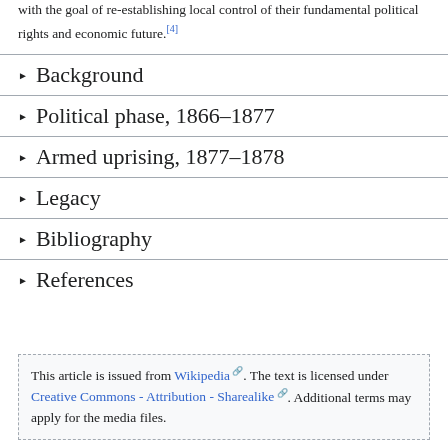with the goal of re-establishing local control of their fundamental political rights and economic future.[4]
Background
Political phase, 1866–1877
Armed uprising, 1877–1878
Legacy
Bibliography
References
This article is issued from Wikipedia. The text is licensed under Creative Commons - Attribution - Sharealike. Additional terms may apply for the media files.